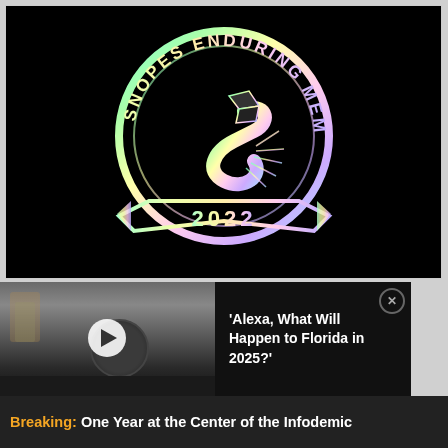[Figure (logo): Snopes Enduring Member 2022 badge/logo — circular badge with holographic rainbow gradient outline on black background. Text reads 'SNOPES ENDURING MEMBER' around the top arc, '2022' on a banner at the bottom. Center shows a stylized S/snake-like figure.]
[Figure (photo): Amazon Echo Dot smart speaker on a surface, dark product photo with a blue ring glow at the bottom. Background shows a blurred shelf with items. A white play button overlay is centered on the image.]
'Alexa, What Will Happen to Florida in 2025?'
Breaking: One Year at the Center of the Infodemic